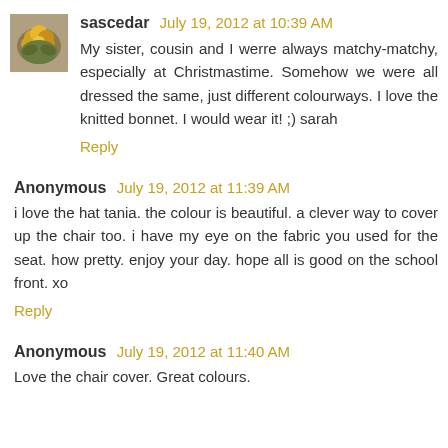[Figure (photo): Small avatar photo of flowers (yellow/orange blooms)]
sascedar July 19, 2012 at 10:39 AM
My sister, cousin and I werre always matchy-matchy, especially at Christmastime. Somehow we were all dressed the same, just different colourways. I love the knitted bonnet. I would wear it! ;) sarah
Reply
Anonymous July 19, 2012 at 11:39 AM
i love the hat tania. the colour is beautiful. a clever way to cover up the chair too. i have my eye on the fabric you used for the seat. how pretty. enjoy your day. hope all is good on the school front. xo
Reply
Anonymous July 19, 2012 at 11:40 AM
Love the chair cover. Great colours.